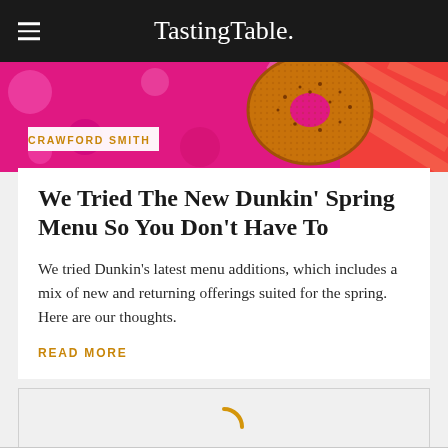Tasting Table.
[Figure (photo): Close-up photo of a Dunkin' donut on a colorful pink and orange background with polka dots and stripes]
CRAWFORD SMITH
We Tried The New Dunkin' Spring Menu So You Don't Have To
We tried Dunkin's latest menu additions, which includes a mix of new and returning offerings suited for the spring. Here are our thoughts.
READ MORE
[Figure (other): Loading spinner (circular arc in orange/gold color indicating content loading)]